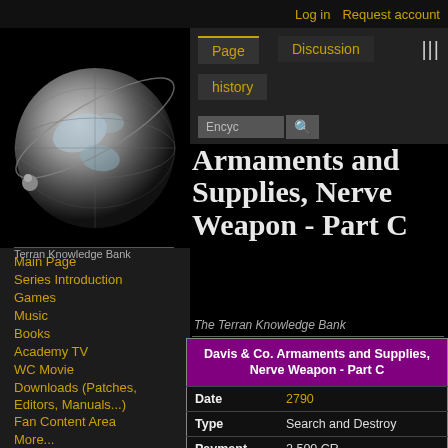Log in   Request account
[Figure (logo): Terran Knowledge Bank wiki globe logo on dark background]
Main Page
Series Introduction
Games
Music
Books
Academy TV
WC Movie
Downloads (Patches, Editors, Manuals...)
Fan Content Area
More...
Terran Knowledge Bank
Main Page
Ships
Armaments and Supplies, Nerve Weapon - Part C
The Terran Knowledge Bank
|  | Davis & Co. Armaments and Supplies, Nerve Weapon - Part C |
| --- | --- |
| Date | 2790 |
| Type | Search and Destroy |
| Payment | 2,500 CR |
| Objectives | Destroy escort and pirates. |
| Failure | Attackers escape. |